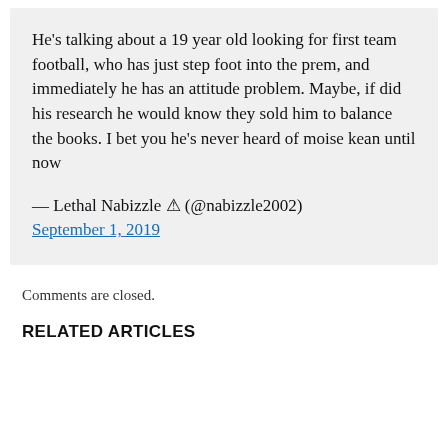He's talking about a 19 year old looking for first team football, who has just step foot into the prem, and immediately he has an attitude problem. Maybe, if did his research he would know they sold him to balance the books. I bet you he's never heard of moise kean until now

— Lethal Nabizzle ⚠ (@nabizzle2002) September 1, 2019
Comments are closed.
RELATED ARTICLES